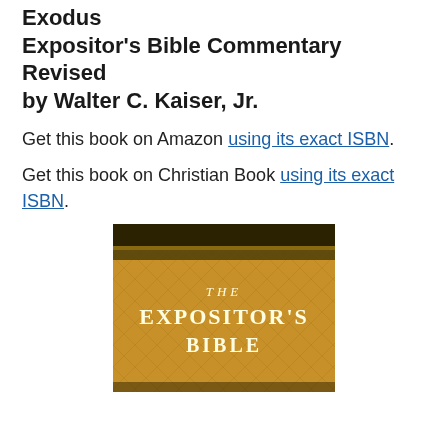Exodus
Expositor's Bible Commentary Revised by Walter C. Kaiser, Jr.
Get this book on Amazon using its exact ISBN.
Get this book on Christian Book using its exact ISBN.
[Figure (photo): Book cover of The Expositor's Bible, gold/olive colored cover with ornate design and text 'THE EXPOSITOR'S BIBLE']